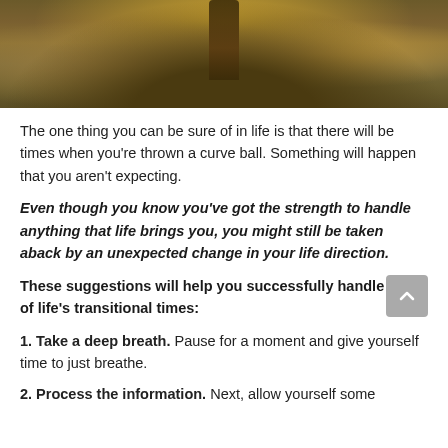[Figure (photo): A person walking on a trail through natural outdoor scenery with golden/warm tones, rocks and vegetation visible]
The one thing you can be sure of in life is that there will be times when you're thrown a curve ball. Something will happen that you aren't expecting.
Even though you know you've got the strength to handle anything that life brings you, you might still be taken aback by an unexpected change in your life direction.
These suggestions will help you successfully handle some of life's transitional times:
1. Take a deep breath. Pause for a moment and give yourself time to just breathe.
2. Process the information. Next, allow yourself some